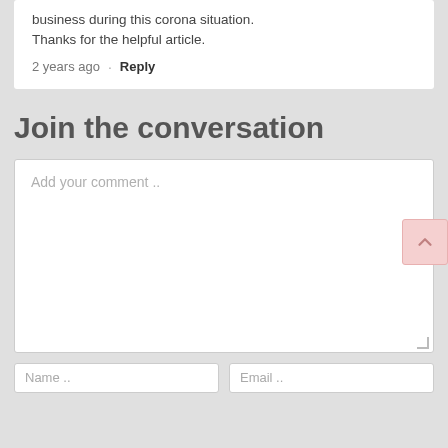business during this corona situation. Thanks for the helpful article.
2 years ago · Reply
Join the conversation
Add your comment ..